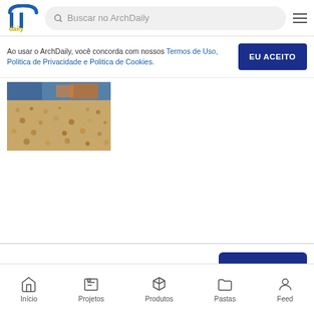[Figure (logo): ArchDaily logo — blue/yellow 'arch daily' icon]
Buscar no ArchDaily
Ao usar o ArchDaily, você concorda com nossos Termos de Uso, Politica de Privacidade e Politica de Cookies.
EU ACEITO
[Figure (photo): Close-up photo of sandy or gravelly ground texture, warm brown tones, shot from low angle with blue/orange blurred elements in background.]
Guardar
Início   Projetos   Produtos   Pastas   Feed